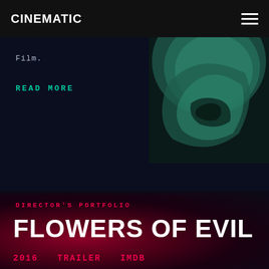CINEMATIC
Film.
READ MORE
[Figure (photo): Teal/green tinted circular or partial circular abstract shape against dark background, top-right area]
[Figure (photo): Dark red cinematic background with textured organic shapes, bottom half of page]
DIRECTOR'S PORTFOLIO
FLOWERS OF EVIL
2016   TRAILER   IMDB